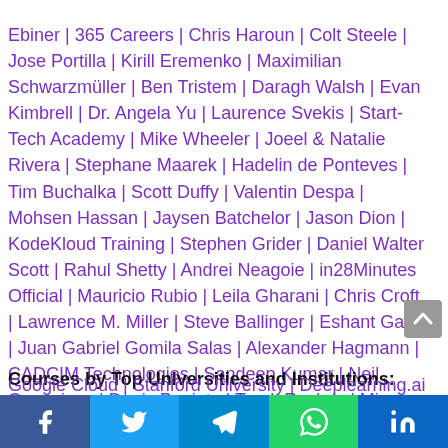Ebiner | 365 Careers | Chris Haroun | Colt Steele | Jose Portilla | Kirill Eremenko | Maximilian Schwarzmüller | Ben Tristem | Daragh Walsh | Evan Kimbrell | Dr. Angela Yu | Laurence Svekis | Start-Tech Academy | Mike Wheeler | Joeel & Natalie Rivera | Stephane Maarek | Hadelin de Ponteves | Tim Buchalka | Scott Duffy | Valentin Despa | Mohsen Hassan | Jaysen Batchelor | Jason Dion | KodeKloud Training | Stephen Grider | Daniel Walter Scott | Rahul Shetty | Andrei Neagoie | in28Minutes Official | Mauricio Rubio | Leila Gharani | Chris Croft | Lawrence M. Miller | Steve Ballinger | Eshant Garg | Juan Gabriel Gomila Salas | Alexander Hagmann | CADCIM Technologies | Sandeep Kumar | Neil Cummings | Denis Panjuta | Tarek Roshdy | Minerva Singh | Matthew Barnett | Siva Prasad | Dr Karen E Wells | Graham Nicholls | Kain Ramsay |
Courses by Top Universities and Institutions:
Google Cloud | Stanford University | Deeplearning.ai | University of Michigan | University of Illinois | IBM | Johns Hopkins University | Northwestern University | University of